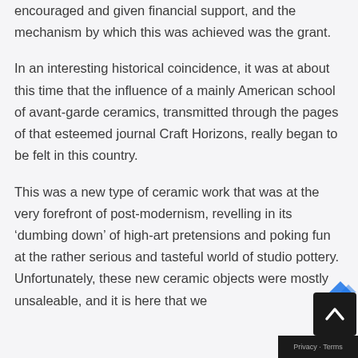encouraged and given financial support, and the mechanism by which this was achieved was the grant.
In an interesting historical coincidence, it was at about this time that the influence of a mainly American school of avant-garde ceramics, transmitted through the pages of that esteemed journal Craft Horizons, really began to be felt in this country.
This was a new type of ceramic work that was at the very forefront of post-modernism, revelling in its ‘dumbing down’ of high-art pretensions and poking fun at the rather serious and tasteful world of studio pottery. Unfortunately, these new ceramic objects were mostly unsaleable, and it is here that we